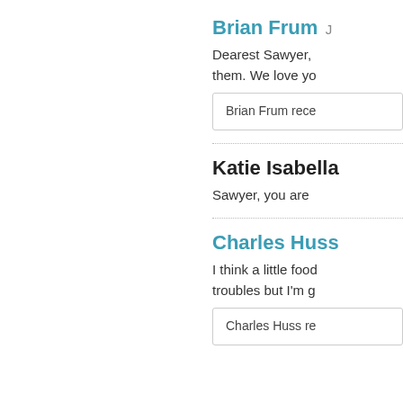Brian Frum  J
Dearest Sawyer, them. We love yo
Brian Frum rece
Katie Isabella
Sawyer, you are
Charles Huss
I think a little food troubles but I'm g
Charles Huss re